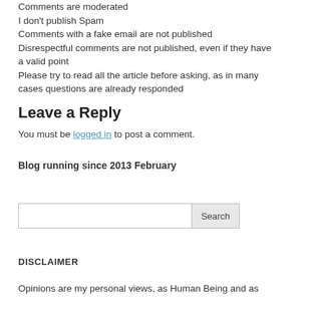Comments are moderated
I don't publish Spam
Comments with a fake email are not published
Disrespectful comments are not published, even if they have a valid point
Please try to read all the article before asking, as in many cases questions are already responded
Leave a Reply
You must be logged in to post a comment.
Blog running since 2013 February
[Figure (other): Search input box with Search button]
DISCLAIMER
Opinions are my personal views, as Human Being and as Engineer.